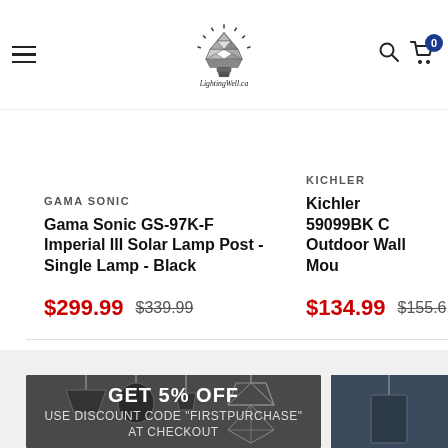[Figure (logo): LightingWell.ca logo: geometric faceted light bulb SVG above stylized script text]
GAMA SONIC
Gama Sonic GS-97K-F Imperial III Solar Lamp Post - Single Lamp - Black
$299.99  $339.99
KICHLER
Kichler 59099BK C Outdoor Wall Mou
$134.99  $155.6
GET 5% OFF
USE DISCOUNT CODE "FIRSTPURCHASE"
AT CHECKOUT